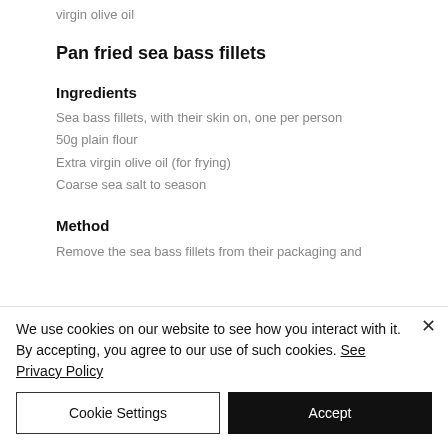virgin olive oil
Pan fried sea bass fillets
Ingredients
Sea bass fillets, with their skin on, one per person
50g plain flour
Extra virgin olive oil (for frying)
Coarse sea salt to season
Method
Remove the sea bass fillets from their packaging and
We use cookies on our website to see how you interact with it. By accepting, you agree to our use of such cookies. See Privacy Policy
Cookie Settings
Accept